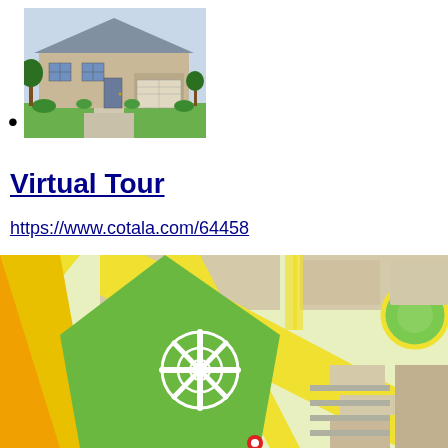[Figure (photo): Exterior photo of a suburban residential home with green lawn, gray siding, and attached garage]
Virtual Tour
https://www.cotala.com/64458
[Figure (map): Stylized street map showing roads (yellow, orange), green park area with a roundabout, and city blocks in beige/tan]